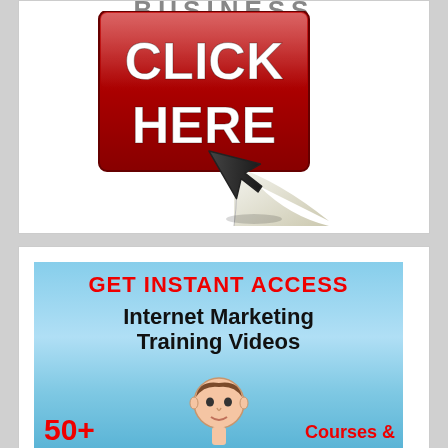[Figure (other): Partial 'BUSINESS' text cropped at top with a red 'CLICK HERE' button and cursor arrow with paper scroll graphic below it]
[Figure (other): Banner ad with sky background reading 'GET INSTANT ACCESS Internet Marketing Training Videos 50+ Courses &' with a cartoon face at bottom]